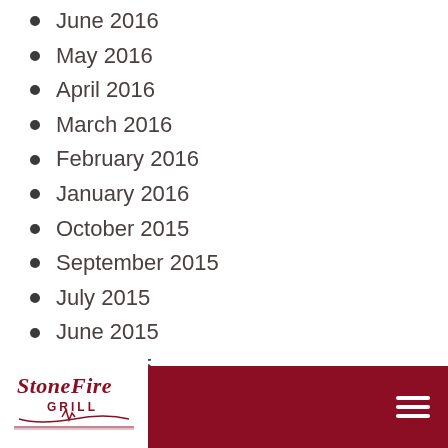June 2016
May 2016
April 2016
March 2016
February 2016
January 2016
October 2015
September 2015
July 2015
June 2015
May 2015
April 2015
March 2015
February 2015
January 2015
[Figure (logo): StoneFire Grill logo in red/dark red with stylized text and decorative underline]